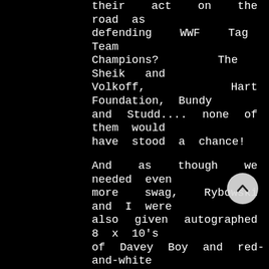their act on the road as defending WWF Tag Team Champions? The Sheik and Volkoff, Hart Foundation, Bundy and Studd.... none of them would have stood a chance!

And as though we needed even more swag, Rybowski and I were also given autographed 8 x 10's of Davey Boy and red-and-white British Bulldogs tee-shirts like the one he's wearing in the picture (though to be fair, DBS's guns were a bit larger than mine back then).
One more story from the historic Bulldog/Father Summit: You may notice how, in Davey Boy's hands, he's holding a leash. That's because his mascot Matilda ALSO CAME TO THE OFFICE